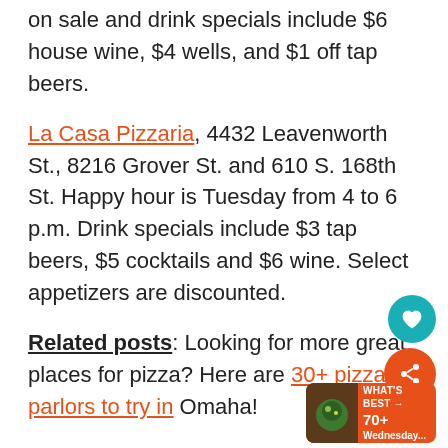on sale and drink specials include $6 house wine, $4 wells, and $1 off tap beers.
La Casa Pizzaria, 4432 Leavenworth St., 8216 Grover St. and 610 S. 168th St. Happy hour is Tuesday from 4 to 6 p.m. Drink specials include $3 tap beers, $5 cocktails and $6 wine. Select appetizers are discounted.
Related posts: Looking for more great places for pizza? Here are 30+ pizza parlors to try in Omaha!
LeadBelly, 3201 Farnam St., Suite 6101.